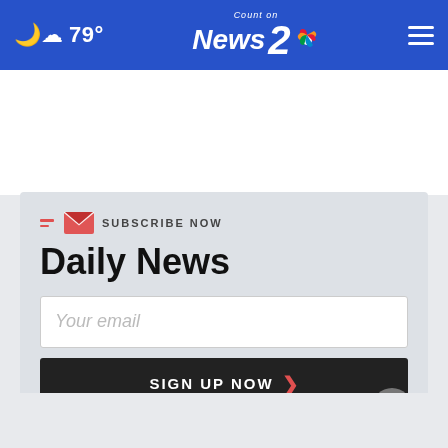☁ 79° | Count on News 2 NBC | ☰
SUBSCRIBE NOW
Daily News
Your email
SIGN UP NOW